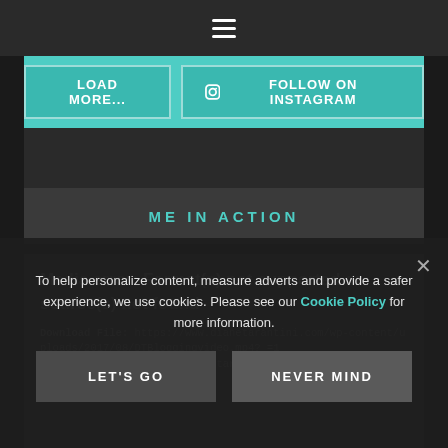☰
[Figure (screenshot): Teal bar with Load More... and Follow on Instagram buttons]
ME IN ACTION
Media error: Format(s) not supported or source(s) not found
Download File: https://www.dianetarantini.com/wp-content/uploads/2017/08/DTBloggingvideo.mp4?_=1
To help personalize content, measure adverts and provide a safer experience, we use cookies. Please see our Cookie Policy for more information.
Let's Go
Never Mind